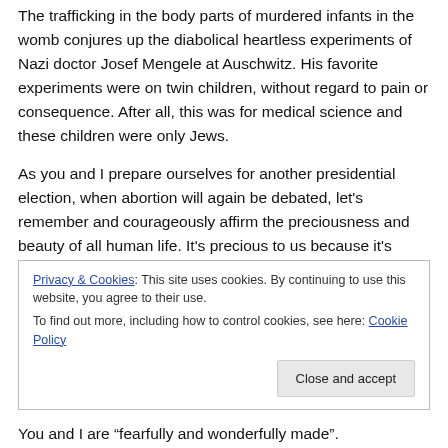The trafficking in the body parts of murdered infants in the womb conjures up the diabolical heartless experiments of Nazi doctor Josef Mengele at Auschwitz. His favorite experiments were on twin children, without regard to pain or consequence. After all, this was for medical science and these children were only Jews.
As you and I prepare ourselves for another presidential election, when abortion will again be debated, let's remember and courageously affirm the preciousness and beauty of all human life. It's precious to us because it's precious to the God who made us.
Privacy & Cookies: This site uses cookies. By continuing to use this website, you agree to their use. To find out more, including how to control cookies, see here: Cookie Policy
You and I are “fearfully and wonderfully made”.